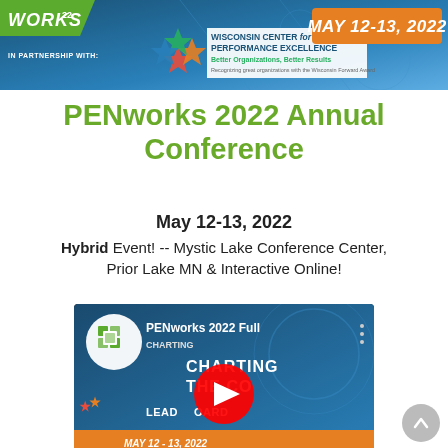[Figure (illustration): Header banner with PENworks logo, Wisconsin Center for Performance Excellence branding, star logo, and May 12-13 2022 orange badge on blue gradient background]
PENworks 2022 Annual Conference
May 12-13, 2022
Hybrid Event! -- Mystic Lake Conference Center, Prior Lake MN & Interactive Online!
[Figure (screenshot): YouTube video thumbnail showing PENworks 2022 Full conference video with play button overlay, showing conference branding including 'Charting the Course' and 'Leading Forward' text]